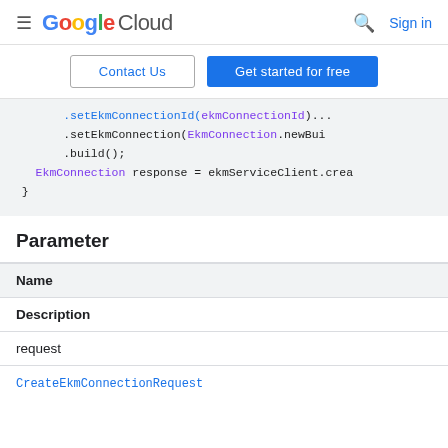Google Cloud — Sign in
Contact Us | Get started for free
[Figure (screenshot): Code snippet showing .setEkmConnectionId( ekmConnectionId ).setEkmConnection(EkmConnection.newBui .build(); EkmConnection response = ekmServiceClient.crea }]
Parameter
| Name | Description |
| --- | --- |
| request | CreateEkmConnectionRequest |